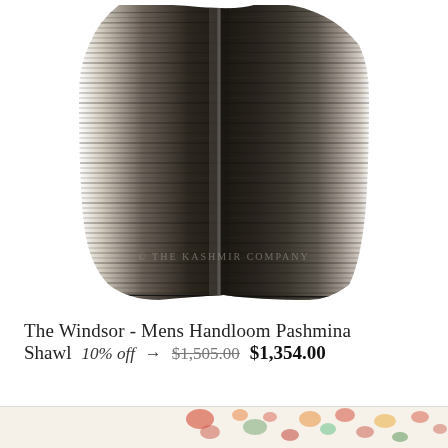[Figure (photo): Dark charcoal/black handloom pashmina shawl with fine horizontal stripe texture, draped and folded, showing fabric weave detail. Watermark reads '© The Kashmir Company' in lower center.]
The Windsor - Mens Handloom Pashmina Shawl   10% off →  $1,505.00  $1,354.00
[Figure (photo): Partial view of next product with SALE badge overlay — floral patterned fabric in cream with red/orange/green botanical print.]